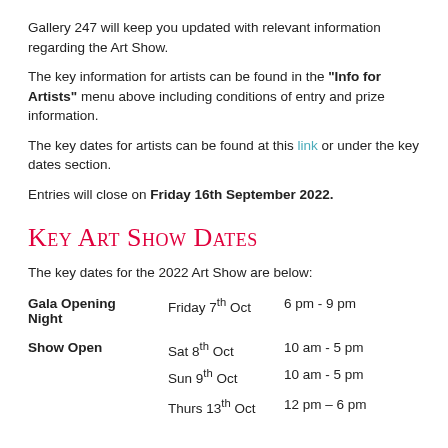Gallery 247 will keep you updated with relevant information regarding the Art Show.
The key information for artists can be found in the "Info for Artists" menu above including conditions of entry and prize information.
The key dates for artists can be found at this link or under the key dates section.
Entries will close on Friday 16th September 2022.
Key Art Show Dates
The key dates for the 2022 Art Show are below:
| Event | Date | Time |
| --- | --- | --- |
| Gala Opening Night | Friday 7th Oct | 6 pm - 9 pm |
| Show Open | Sat 8th Oct | 10 am - 5 pm |
|  | Sun 9th Oct | 10 am - 5 pm |
|  | Thurs 13th Oct | 12 pm – 6 pm |